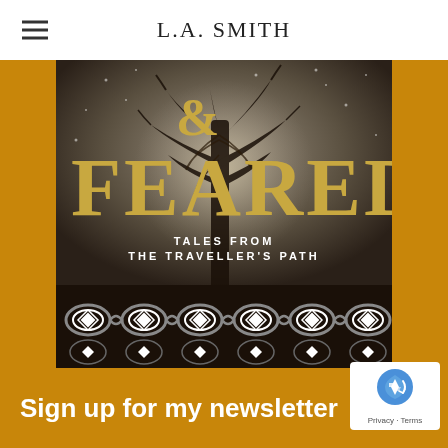L.A. SMITH
[Figure (illustration): Book cover for '& Feared: Tales from the Traveller's Path' by L.A. Smith. Features a dark atmospheric image with a bare tree against a misty background, large gold text reading 'FEARED' with '&' above it, white text reading 'TALES FROM THE TRAVELLER'S PATH', and a decorative Celtic-style border at the bottom with diamond and oval patterns in black and white.]
Sign up for my newsletter